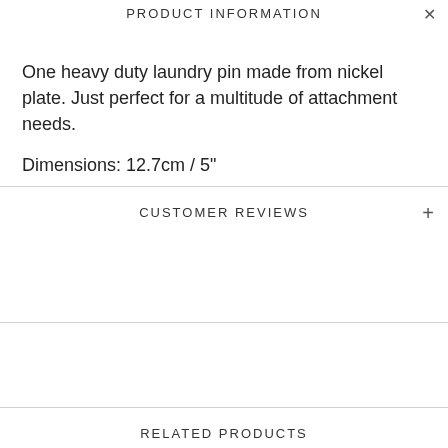PRODUCT INFORMATION
One heavy duty laundry pin made from nickel plate. Just perfect for a multitude of attachment needs.
Dimensions: 12.7cm / 5"
CUSTOMER REVIEWS
RELATED PRODUCTS